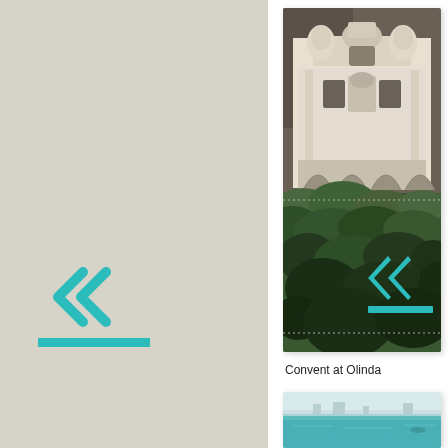[Figure (other): Left panel with beige/tan background serving as navigation area with double left-chevron arrows and teal underbar]
[Figure (photo): Baroque church facade at Convent at Olinda, Brazil, showing ornate white decorated gable and entrance with arched arcade, surrounded by tropical foliage]
[Figure (other): Right navigation overlay with double right-chevron arrows in teal and teal underbar]
Convent at Olinda
[Figure (photo): Partial view of what appears to be a coastal or waterfront scene with turquoise-teal water]